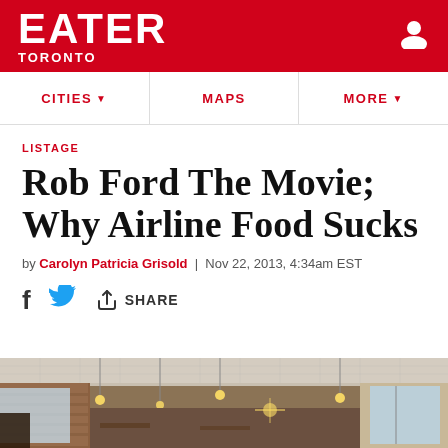EATER TORONTO
CITIES  MAPS  MORE
LISTAGE
Rob Ford The Movie; Why Airline Food Sucks
by Carolyn Patricia Grisold | Nov 22, 2013, 4:34am EST
[Figure (photo): Interior of a restaurant with brick walls, decorative tin ceiling, and hanging Edison bulb lights. Natural light coming through windows.]